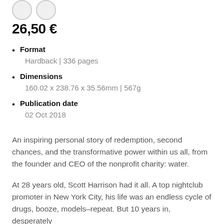26,50 €
Format
Hardback | 336 pages
Dimensions
160.02 x 238.76 x 35.56mm | 567g
Publication date
02 Oct 2018
An inspiring personal story of redemption, second chances, and the transformative power within us all, from the founder and CEO of the nonprofit charity: water.
At 28 years old, Scott Harrison had it all. A top nightclub promoter in New York City, his life was an endless cycle of drugs, booze, models–repeat. But 10 years in, desperately